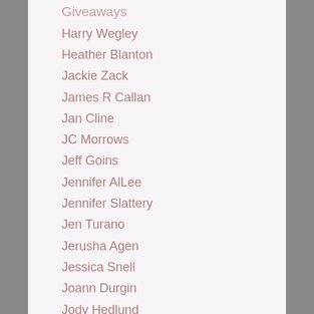Giveaways
Harry Wegley
Heather Blanton
Jackie Zack
James R Callan
Jan Cline
JC Morrows
Jeff Goins
Jennifer AlLee
Jennifer Slattery
Jen Turano
Jerusha Agen
Jessica Snell
Joann Durgin
Jody Hedlund
Johnnie Alexander
Jo Huddleston
Julie Arduini
Julie Fugate
Julie Klassen